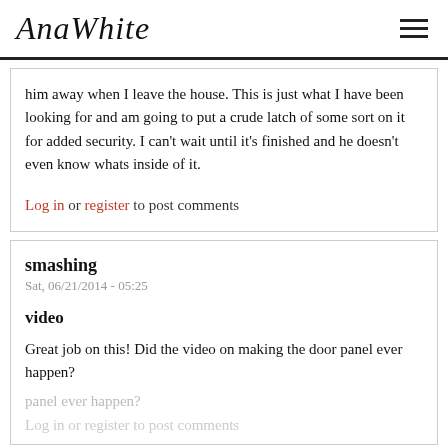AnaWhite
him away when I leave the house. This is just what I have been looking for and am going to put a crude latch of some sort on it for added security. I can't wait until it's finished and he doesn't even know whats inside of it.
Log in or register to post comments
smashing
Sat, 06/21/2014 - 05:25
video
Great job on this! Did the video on making the door panel ever happen?
Log in or register to post comments